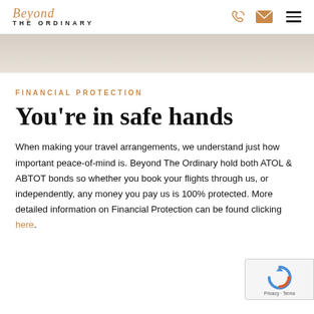Beyond THE ORDINARY
[Figure (photo): Hero image area showing a travel/landscape photo (partially visible, pale warm tones)]
FINANCIAL PROTECTION
You're in safe hands
When making your travel arrangements, we understand just how important peace-of-mind is. Beyond The Ordinary hold both ATOL & ABTOT bonds so whether you book your flights through us, or independently, any money you pay us is 100% protected. More detailed information on Financial Protection can be found clicking here.